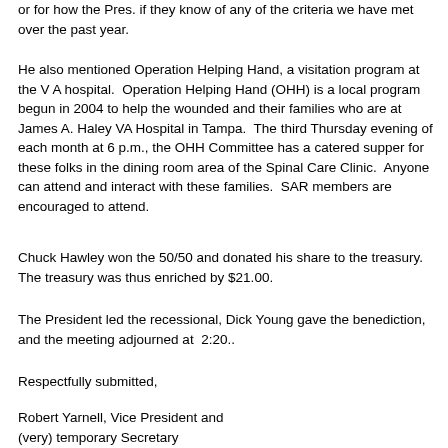or for how the Pres. if they know of any of the criteria we have met over the past year.
He also mentioned Operation Helping Hand, a visitation program at the V A hospital.  Operation Helping Hand (OHH) is a local program begun in 2004 to help the wounded and their families who are at James A. Haley VA Hospital in Tampa.  The third Thursday evening of each month at 6 p.m., the OHH Committee has a catered supper for these folks in the dining room area of the Spinal Care Clinic.  Anyone can attend and interact with these families.  SAR members are encouraged to attend.
Chuck Hawley won the 50/50 and donated his share to the treasury.  The treasury was thus enriched by $21.00.
The President led the recessional, Dick Young gave the benediction, and the meeting adjourned at  2:20..
Respectfully submitted,
Robert Yarnell, Vice President and
(very) temporary Secretary